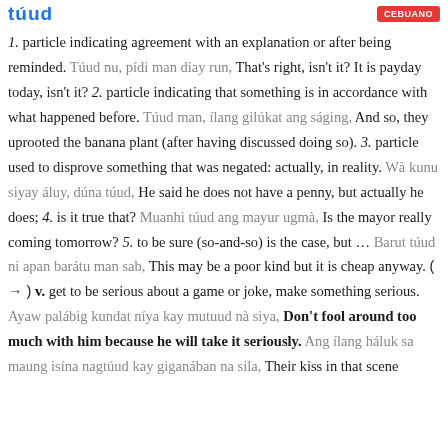túud
1. particle indicating agreement with an explanation or after being reminded. Túud nu, pídi man diay run, That's right, isn't it? It is payday today, isn't it? 2. particle indicating that something is in accordance with what happened before. Túud man, ílang gilúkat ang ságing, And so, they uprooted the banana plant (after having discussed doing so). 3. particle used to disprove something that was negated: actually, in reality. Wà kunu siyay áluy, dúna túud, He said he does not have a penny, but actually he does; 4. is it true that? Muanhi túud ang mayur ugmà, Is the mayor really coming tomorrow? 5. to be sure (so-and-so) is the case, but … Barut túud ni apan barátu man sab, This may be a poor kind but it is cheap anyway. ( → ) v. get to be serious about a game or joke, make something serious. Ayaw palábig kundat níya kay mutuud nà siya, Don't fool around too much with him because he will take it seriously. Ang ílang háluk sa maung isína nagtúud kay giganában na sila, Their kiss in that scene